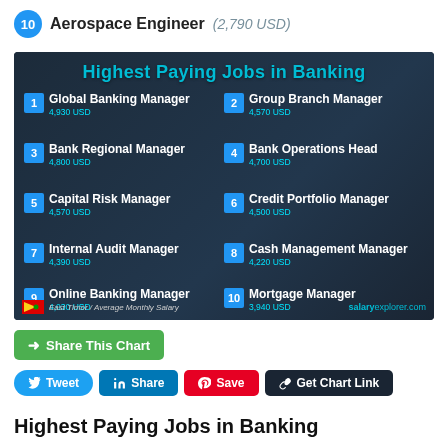10  Aerospace Engineer  (2,790 USD)
[Figure (infographic): Infographic showing 'Highest Paying Jobs in Banking' for East Timor / Average Monthly Salary. Lists 10 jobs: 1. Global Banking Manager 4,930 USD, 2. Group Branch Manager 4,570 USD, 3. Bank Regional Manager 4,800 USD, 4. Bank Operations Head 4,700 USD, 5. Capital Risk Manager 4,570 USD, 6. Credit Portfolio Manager 4,500 USD, 7. Internal Audit Manager 4,390 USD, 8. Cash Management Manager 4,220 USD, 9. Online Banking Manager 4,030 USD, 10. Mortgage Manager 3,940 USD. Source: salaryexplorer.com]
Share This Chart
Tweet  Share  Save  Get Chart Link
Highest Paying Jobs in Banking